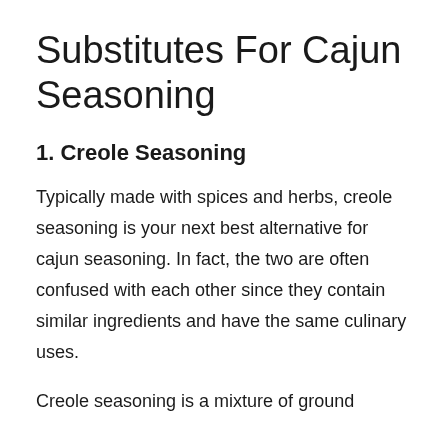Substitutes For Cajun Seasoning
1. Creole Seasoning
Typically made with spices and herbs, creole seasoning is your next best alternative for cajun seasoning. In fact, the two are often confused with each other since they contain similar ingredients and have the same culinary uses.
Creole seasoning is a mixture of ground